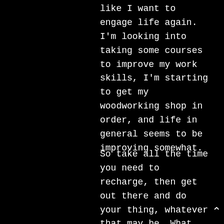like I want to engage life again. I'm looking into taking some courses to improve my work skills, I'm starting to get my woodworking shop in order, and life in general seems to be improving somewhat.
So take all the time you need to recharge, then get out there and do your thing, whatever that may be. What you've started here is self-perpetuating, there will always be people here to help guide the lost souls